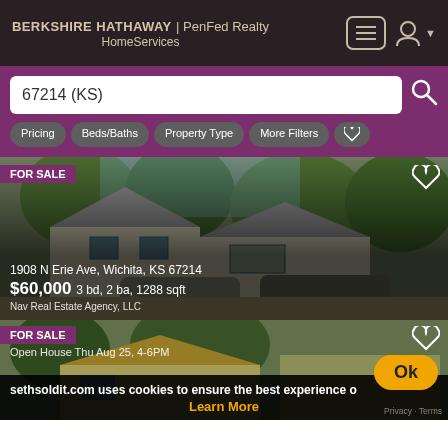BERKSHIRE HATHAWAY | PenFed Realty HomeServices
67214 (KS)
Pricing
Beds/Baths
Property Type
More Filters
[Figure (photo): Photo of house at 1908 N Erie Ave, Wichita, KS 67214 with cars in driveway and trees]
FOR SALE
1908 N Erie Ave, Wichita, KS 67214
$60,000 3 bd, 2 ba, 1288 sqft
Nav Real Estate Agency, LLC
[Figure (photo): Second house listing photo, partially visible, with open house notice]
FOR SALE
Open House Thu Aug 25, 4-6PM
sethsoldit.com uses cookies to ensure the best experience o
Learn More
Ok
Privacy · Terms